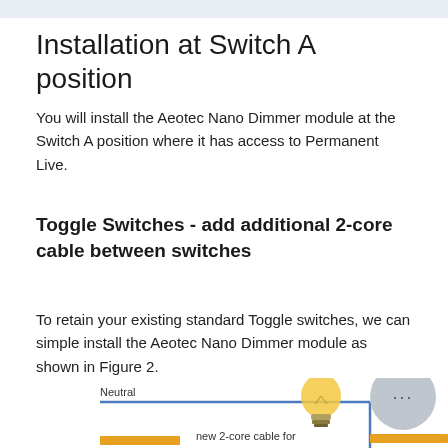Installation at Switch A position
You will install the Aeotec Nano Dimmer module at the Switch A position where it has access to Permanent Live.
Toggle Switches - add additional 2-core cable between switches
To retain your existing standard Toggle switches, we can simple install the Aeotec Nano Dimmer module as shown in Figure 2.
[Figure (schematic): Partial wiring diagram showing neutral wire label at top and 'new 2-core cable for' label at bottom, with a light bulb illustration and a circular chat/help button overlay in the bottom right corner.]